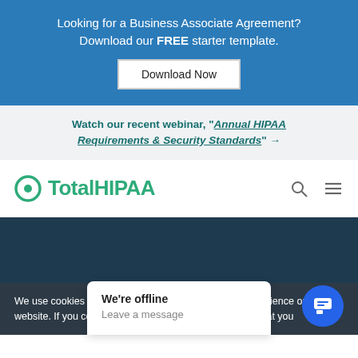Looking for a Business Associate Agreement? Download our FREE starter template.
Download Now
Watch our recent webinar, “Annual HIPAA Requirements & Security Standards” →
[Figure (logo): TotalHIPAA logo with green circular icon and green bold text]
We use cookies to ensure that we give you the best experience on our website. If you continue to use this site we will assume that you
We're offline
Leave a message